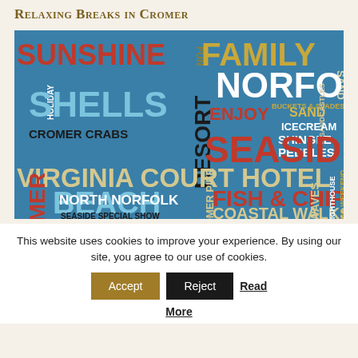Relaxing Breaks in Cromer
[Figure (infographic): Word cloud with seaside/Norfolk holiday themed words on a teal/blue background. Words include: SUNSHINE, FUN, FAMILY, SAND, NORFOLK, HOLIDAY, SHELLS, RESORT, ENJOY, BUCKETS & SPADES, SANDCASTLES, ICECREAM, CROMER CRABS, SEASIDE, SHINGLE, PEBBLES, VIRGINIA COURT HOTEL, NORTH NORFOLK, PIER, FISH & CHIPS, WAVES, LIGHTHOUSE, LONG WEEKEND, GIGGLES, CROMER, BEACH, COASTAL WALKS, NORFOLK BROADS, SEASIDE SPECIAL SHOW]
This website uses cookies to improve your experience. By using our site, you agree to our use of cookies.
Accept   Reject   Read More